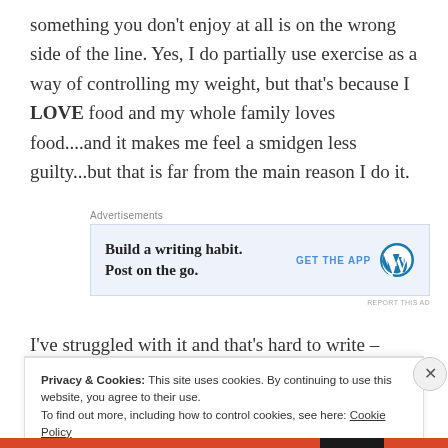something you don't enjoy at all is on the wrong side of the line. Yes, I do partially use exercise as a way of controlling my weight, but that's because I LOVE food and my whole family loves food....and it makes me feel a smidgen less guilty...but that is far from the main reason I do it.
[Figure (screenshot): Advertisement banner: 'Build a writing habit. Post on the go.' with GET THE APP button and WordPress logo]
I've struggled with it and that's hard to write – although
Privacy & Cookies: This site uses cookies. By continuing to use this website, you agree to their use.
To find out more, including how to control cookies, see here: Cookie Policy

Close and accept